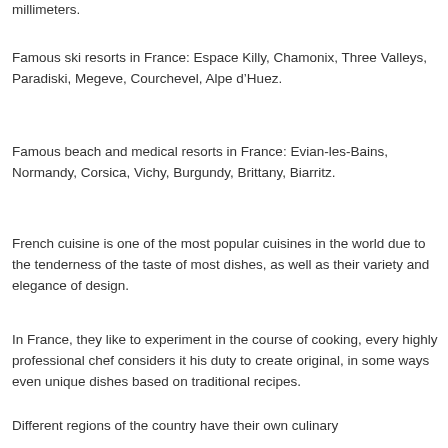millimeters.
Famous ski resorts in France: Espace Killy, Chamonix, Three Valleys, Paradiski, Megeve, Courchevel, Alpe d’Huez.
Famous beach and medical resorts in France: Evian-les-Bains, Normandy, Corsica, Vichy, Burgundy, Brittany, Biarritz.
French cuisine is one of the most popular cuisines in the world due to the tenderness of the taste of most dishes, as well as their variety and elegance of design.
In France, they like to experiment in the course of cooking, every highly professional chef considers it his duty to create original, in some ways even unique dishes based on traditional recipes.
Different regions of the country have their own culinary